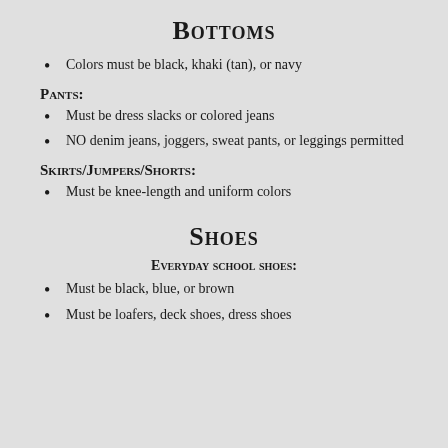Bottoms
Colors must be black, khaki (tan), or navy
Pants:
Must be dress slacks or colored jeans
NO denim jeans, joggers, sweat pants, or leggings permitted
Skirts/Jumpers/Shorts:
Must be knee-length and uniform colors
Shoes
Everyday school shoes:
Must be black, blue, or brown
Must be loafers, deck shoes, dress shoes